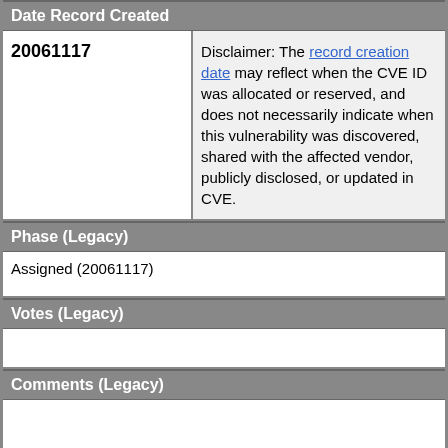Date Record Created
|  |  |
| --- | --- |
| 20061117 | Disclaimer: The record creation date may reflect when the CVE ID was allocated or reserved, and does not necessarily indicate when this vulnerability was discovered, shared with the affected vendor, publicly disclosed, or updated in CVE. |
Phase (Legacy)
Assigned (20061117)
Votes (Legacy)
Comments (Legacy)
Proposed (Legacy)
N/A
This is a record on the CVE List, which provides common identifiers for publicly known cybersecurity vulnerabilities.
SEARCH CVE USING KEYWORDS:
You can also search by reference using the CVE Reference Maps.